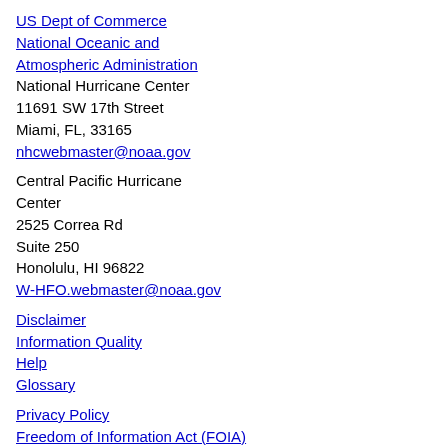US Dept of Commerce
National Oceanic and Atmospheric Administration
National Hurricane Center
11691 SW 17th Street
Miami, FL, 33165
nhcwebmaster@noaa.gov
Central Pacific Hurricane Center
2525 Correa Rd
Suite 250
Honolulu, HI 96822
W-HFO.webmaster@noaa.gov
Disclaimer
Information Quality
Help
Glossary
Privacy Policy
Freedom of Information Act (FOIA)
About Us
Career Opportunities